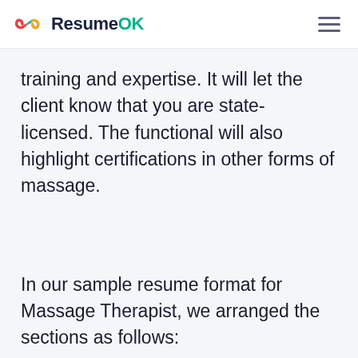ResumeOK
training and expertise. It will let the client know that you are state-licensed. The functional will also highlight certifications in other forms of massage.
In our sample resume format for Massage Therapist, we arranged the sections as follows: